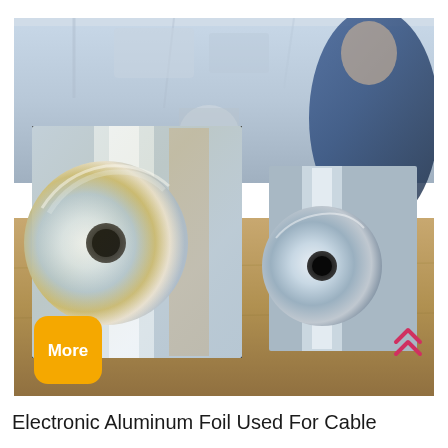[Figure (photo): Large rolls of shiny aluminum foil on a wooden pallet floor in an industrial setting, with a blurred worker in a blue jacket visible in the background. Two prominent silver aluminum foil coil rolls are in the foreground, and a yellow 'More' button badge overlaid in the bottom-left corner of the photo, with a pink double-chevron up arrow in the bottom-right.]
Electronic Aluminum Foil Used For Cable